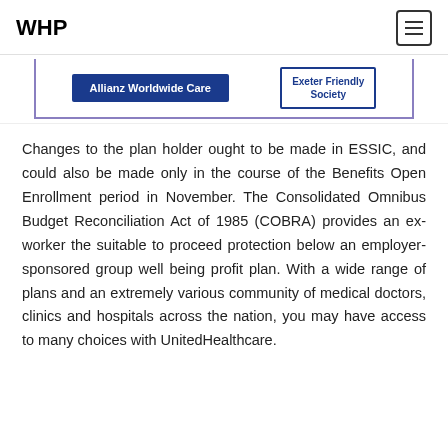WHP
[Figure (logo): Partial image strip showing Allianz Worldwide Care logo (blue box with white text) and Exeter Friendly Society logo (blue bordered box), inside a purple-bordered frame]
Changes to the plan holder ought to be made in ESSIC, and could also be made only in the course of the Benefits Open Enrollment period in November. The Consolidated Omnibus Budget Reconciliation Act of 1985 (COBRA) provides an ex-worker the suitable to proceed protection below an employer-sponsored group well being profit plan. With a wide range of plans and an extremely various community of medical doctors, clinics and hospitals across the nation, you may have access to many choices with UnitedHealthcare.